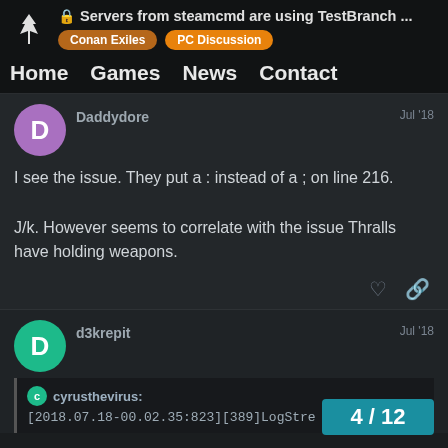Servers from steamcmd are using TestBranch ...
Conan Exiles  PC Discussion
Home  Games  News  Contact
Daddydore  Jul '18
I see the issue. They put a : instead of a ; on line 216.

J/k. However seems to correlate with the issue Thralls have holding weapons.
d3krepit  Jul '18
cyrusthevirus:
[2018.07.18-00.02.35:823][389]LogStre
4 / 12